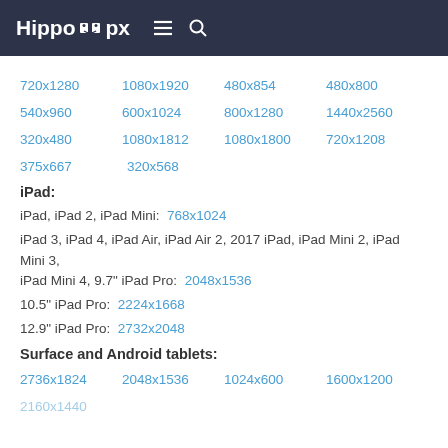Hippo px
720x1280   1080x1920   480x854   480x800
540x960   600x1024   800x1280   1440x2560
320x480   1080x1812   1080x1800   720x1208
375x667   320x568
iPad:
iPad, iPad 2, iPad Mini:   768x1024
iPad 3, iPad 4, iPad Air, iPad Air 2, 2017 iPad, iPad Mini 2, iPad Mini 3, iPad Mini 4, 9.7" iPad Pro:   2048x1536
10.5" iPad Pro:   2224x1668
12.9" iPad Pro:   2732x2048
Surface and Android tablets:
2736x1824   2048x1536   1024x600   1600x1200
2160x1440